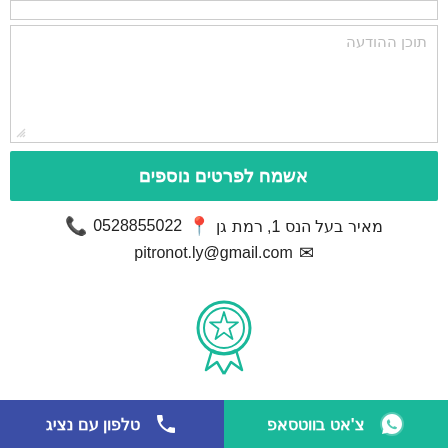תוכן ההודעה
אשמח לפרטים נוספים
מאיר בעל הנס 1, רמת גן  📍  0528855022  📞
pitronot.ly@gmail.com  ✉
[Figure (illustration): Green award badge/ribbon icon]
צ'אט בווטסאפ  |  טלפון עם נציג